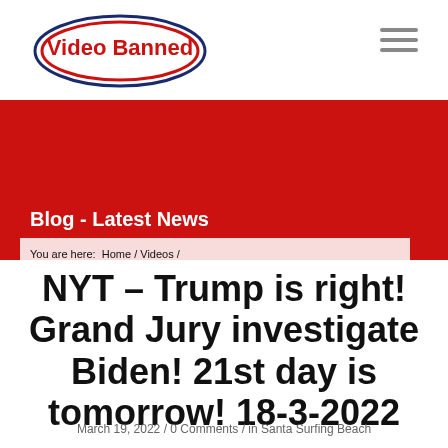[Figure (logo): Video Banned logo: red oval with blue outer ring, red text 'Video Banned' inside]
Blog - Latest News
You are here: Home / Videos / NYT – Trump is right! Grand Jury investigate Biden! 21st day is tomorrow! 1...
NYT – Trump is right! Grand Jury investigate Biden! 21st day is tomorrow! 18-3-2022
March 19, 2022 / 0 Comments / in Santa Surfing Beach